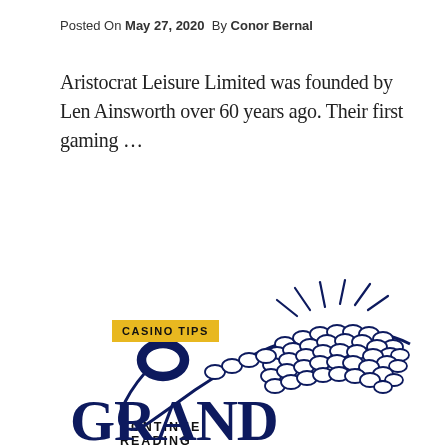Posted On May 27, 2020  By Conor Bernal
Aristocrat Leisure Limited was founded by Len Ainsworth over 60 years ago. Their first gaming …
CONTINUE READING
CASINO TIPS
[Figure (logo): Grand Casino logo featuring a cornucopia spilling coins above the text GRAND CASINO in large dark navy serif letters]